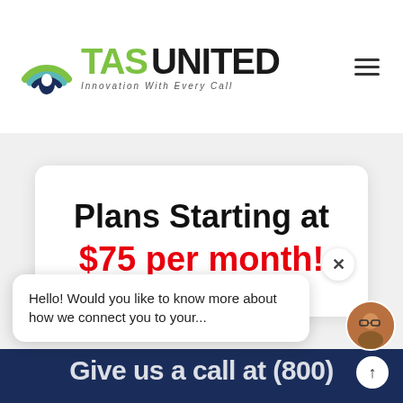TAS UNITED — Innovation With Every Call
Plans Starting at
$75 per month!
Hello! Would you like to know more about how we connect you to your...
Give us a call at (800)